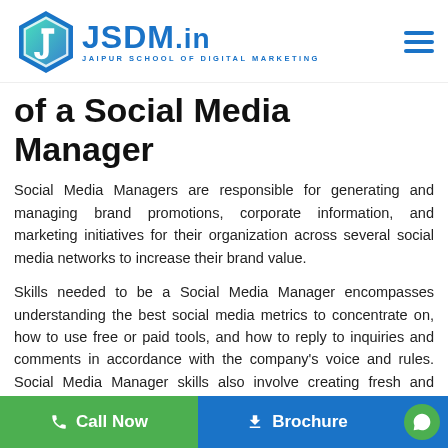[Figure (logo): JSDM.in - Jaipur School of Digital Marketing logo with hexagon icon and hamburger menu]
of a Social Media Manager
Social Media Managers are responsible for generating and managing brand promotions, corporate information, and marketing initiatives for their organization across several social media networks to increase their brand value.
Skills needed to be a Social Media Manager encompasses understanding the best social media metrics to concentrate on, how to use free or paid tools, and how to reply to inquiries and comments in accordance with the company's voice and rules. Social Media Manager skills also involve creating fresh and interesting content on a regular basis, continually innovating to promote new ideas
Call Now   Brochure